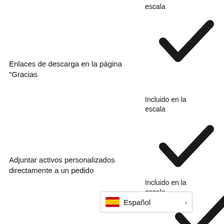escala
[Figure (illustration): Large bold checkmark icon]
Enlaces de descarga en la página "Gracias
Incluido en la escala
[Figure (illustration): Large bold checkmark icon]
Adjuntar activos personalizados directamente a un pedido
Incluido en la escala
[Figure (illustration): Partially visible large bold checkmark icon at bottom right]
[Figure (infographic): Language selector bar showing Spanish flag and 'Español' label with arrow]